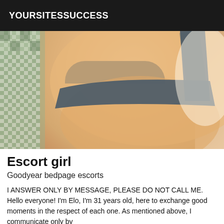YOURSITESSUCCESS
[Figure (photo): Close-up photo of a person wearing dark blue/grey underwear, lying on a patterned fabric surface]
Escort girl
Goodyear bedpage escorts
I ANSWER ONLY BY MESSAGE, PLEASE DO NOT CALL ME. Hello everyone! I'm Elo, I'm 31 years old, here to exchange good moments in the respect of each one. As mentioned above, I communicate only by